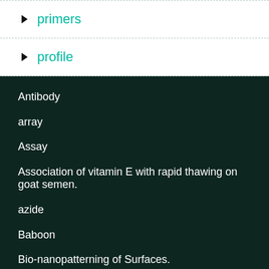primers
profile
Antibody
array
Assay
Association of vitamin E with rapid thawing on goat semen.
azide
Baboon
Bio-nanopatterning of Surfaces.
Bio-TDS: bioscience query tool discovery system.
Cell Culture
Construction of ceRNA Coexpression Network and Screening